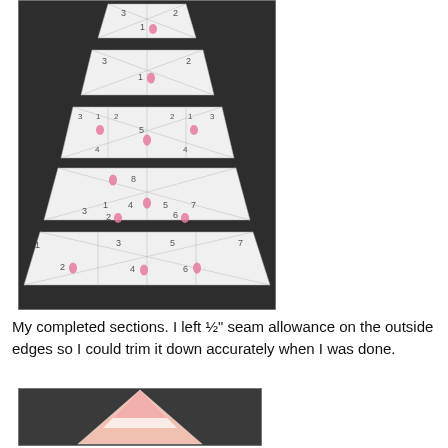[Figure (photo): Photo of completed quilt sections arranged in a tree/pyramid shape on a dark background. Each trapezoid-shaped fabric section has numbered pieces with pink dot marks, arranged from top to bottom in increasing size: a small top section (1,2,3), then progressively wider sections below it, each with numbered triangular pieces (1-7) and pink marker dots indicating sewing order.]
My completed sections. I left ½" seam allowance on the outside edges so I could trim it down accurately when I was done.
[Figure (photo): Partial photo of a completed quilt piece showing triangular/pointed sections in pink/white fabric against a dark background, partially cut off at bottom of page.]